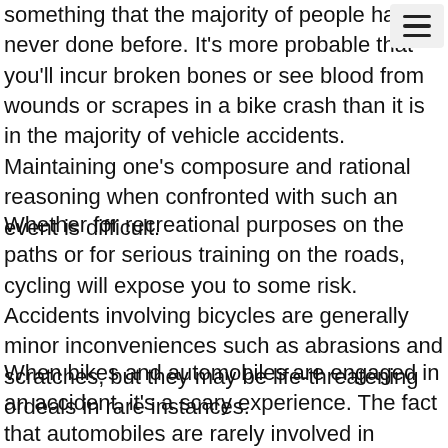something that the majority of people have never done before. It's more probable that you'll incur broken bones or see blood from wounds or scrapes in a bike crash than it is in the majority of vehicle accidents. Maintaining one's composure and rational reasoning when confronted with such an event is difficult.
Whether for recreational purposes on the paths or for serious training on the roads, cycling will expose you to some risk. Accidents involving bicycles are generally minor inconveniences such as abrasions and scratches, but they may be life-threatening ordeals in rare instances.
When bikes and automobiles are engaged in an accident, it's a scary experience. The fact that automobiles are rarely involved in bicycle accidents is convenient. If you were the one who was riding the bike at the time of the accident, Philadelphia personal injur